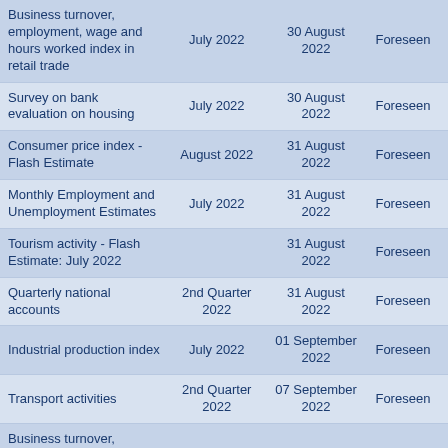| Survey/Index | Reference Period | Release Date | Status |
| --- | --- | --- | --- |
| Business turnover, employment, wage and hours worked index in retail trade | July 2022 | 30 August 2022 | Foreseen |
| Survey on bank evaluation on housing | July 2022 | 30 August 2022 | Foreseen |
| Consumer price index - Flash Estimate | August 2022 | 31 August 2022 | Foreseen |
| Monthly Employment and Unemployment Estimates | July 2022 | 31 August 2022 | Foreseen |
| Tourism activity - Flash Estimate: July 2022 |  | 31 August 2022 | Foreseen |
| Quarterly national accounts | 2nd Quarter 2022 | 31 August 2022 | Foreseen |
| Industrial production index | July 2022 | 01 September 2022 | Foreseen |
| Transport activities | 2nd Quarter 2022 | 07 September 2022 | Foreseen |
| Business turnover, employment, wage and hours worked indices in industry | July 2022 | 08 September 2022 | Foreseen |